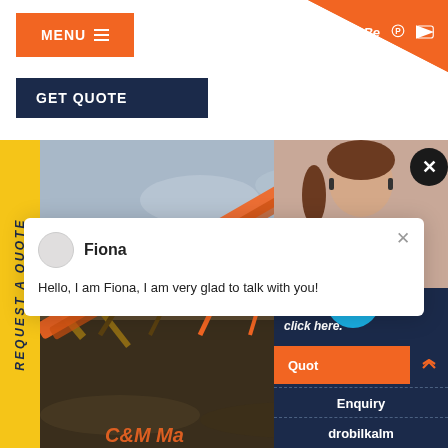MENU  ≡  [social icons: f, twitter, Be, pinterest, youtube]
GET QUOTE
REQUEST A QUOTE
[Figure (photo): Industrial mining/quarrying machinery (conveyor and crusher) with rocky ground and cloudy sky background, partially overlaid by a chat popup. C&M Ma[chinery] watermark in orange at bottom.]
[Figure (screenshot): Chat popup overlay showing avatar circle, name 'Fiona', message 'Hello, I am Fiona, I am very glad to talk with you!' and a close (x) button. Separate close button (black circle with X) at top right of image area.]
Fiona
Hello, I am Fiona, I am very glad to talk with you!
Have any [questions] click here.
Quot[e]
1
Enquiry
drobilkalm